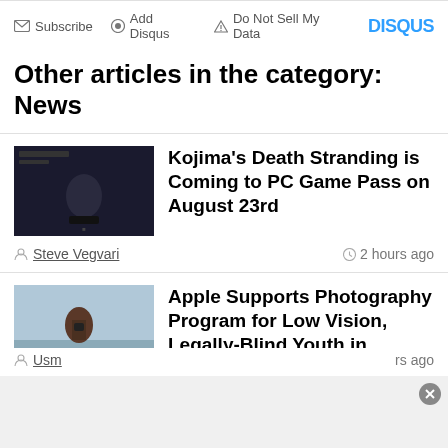Subscribe | Add Disqus | Do Not Sell My Data | DISQUS
Other articles in the category: News
[Figure (photo): Dark movie still thumbnail for Death Stranding article]
Kojima's Death Stranding is Coming to PC Game Pass on August 23rd
Steve Vegvari   2 hours ago
[Figure (photo): Person holding camera thumbnail for Apple Photography article]
Apple Supports Photography Program for Low Vision, Legally-Blind Youth in Chicago
Usman Qureshi   18 hours ago
[Figure (continuous-plot): Chart thumbnail showing Apple Pay adoption growth curve in blue]
Apple Pay Adoption Hits 75% of iPhones in the U.S., Says Report
Usm...   ...rs ago